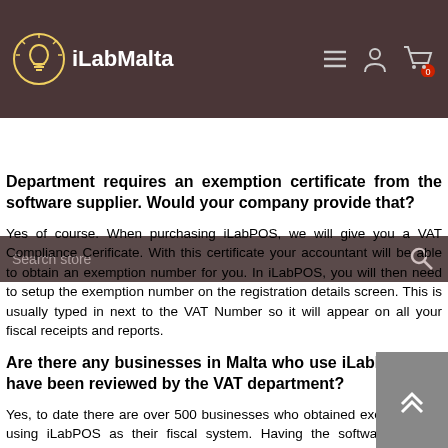[Figure (logo): iLabMalta logo with lightbulb icon and white text on dark brown header bar with hamburger menu, user icon, and cart icon]
Department requires an exemption certificate from the software supplier. Would your company provide that?
Yes of course. When purchasing iLabPOS, we will give you a VAT Compliance Cerificate. With this certificate your accountant will be able to obtain an exemption number for you. In iLabPOS, you will then need to setup the exemption number on the registration details screen. This is usually typed in next to the VAT Number so it will appear on all your fiscal receipts and reports.
Are there any businesses in Malta who use iLabPOS and have been reviewed by the VAT department?
Yes, to date there are over 500 businesses who obtained exemption on using iLabPOS as their fiscal system. Having the software already reviewed by the VAT department, and being known to them facilitates